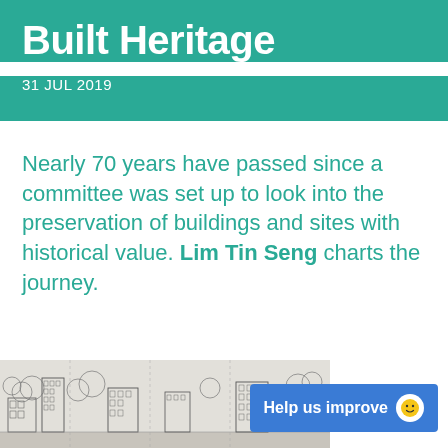Built Heritage
31 JUL 2019
Nearly 70 years have passed since a committee was set up to look into the preservation of buildings and sites with historical value. Lim Tin Seng charts the journey.
[Figure (illustration): Aerial sketch illustration of a city district with buildings and trees, black-and-white architectural drawing style]
Help us improve